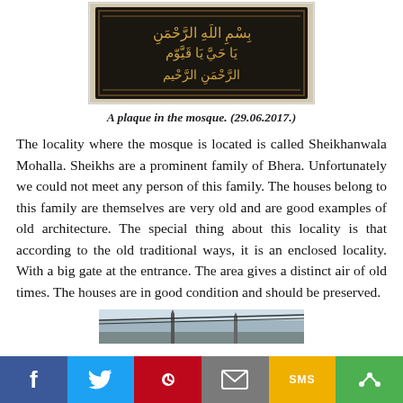[Figure (photo): A dark metal plaque with Arabic calligraphy text engraved in gold/bronze color, mounted on a stone wall in a mosque.]
A plaque in the mosque. (29.06.2017.)
The locality where the mosque is located is called Sheikhanwala Mohalla. Sheikhs are a prominent family of Bhera. Unfortunately we could not meet any person of this family. The houses belong to this family are themselves are very old and are good examples of old architecture. The special thing about this locality is that according to the old traditional ways, it is an enclosed locality. With a big gate at the entrance. The area gives a distinct air of old times. The houses are in good condition and should be preserved.
[Figure (photo): Partial view of mosque towers/minarets against a sky background, cropped at bottom of page.]